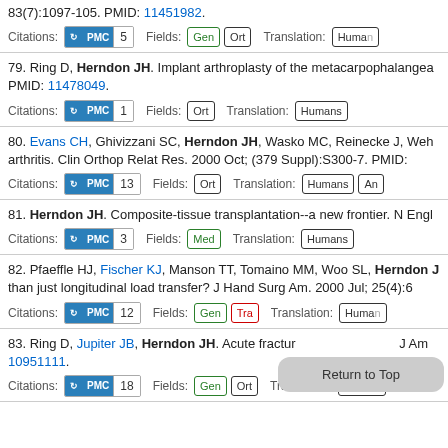83(7):1097-105. PMID: 11451982.
Citations: PMC 5   Fields: Gen Ort   Translation: Humans
79. Ring D, Herndon JH. Implant arthroplasty of the metacarpophalangeа... PMID: 11478049.
Citations: PMC 1   Fields: Ort   Translation: Humans
80. Evans CH, Ghivizzani SC, Herndon JH, Wasko MC, Reinecke J, Weh... arthritis. Clin Orthop Relat Res. 2000 Oct; (379 Suppl):S300-7. PMID:
Citations: PMC 13   Fields: Ort   Translation: Humans An
81. Herndon JH. Composite-tissue transplantation--a new frontier. N Engl...
Citations: PMC 3   Fields: Med   Translation: Humans
82. Pfaeffle HJ, Fischer KJ, Manson TT, Tomaino MM, Woo SL, Herndon J... than just longitudinal load transfer? J Hand Surg Am. 2000 Jul; 25(4):6...
Citations: PMC 12   Fields: Gen Tra   Translation: Humans
83. Ring D, Jupiter JB, Herndon JH. Acute fractur... J Am... 10951111.
Citations: PMC 18   Fields: Gen Ort   Translation: Humans